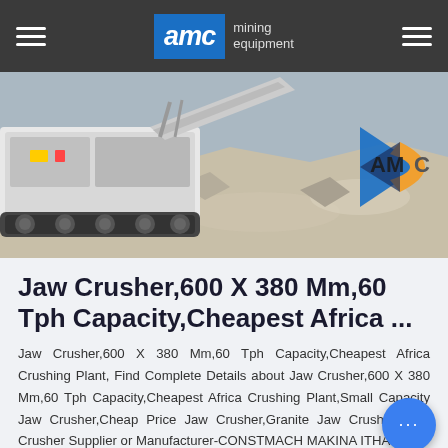AMC mining equipment
[Figure (photo): Mining jaw crusher equipment on tracks with crushed rock/gravel in background; AMC logo visible on right side]
Jaw Crusher,600 X 380 Mm,60 Tph Capacity,Cheapest Africa ...
Jaw Crusher,600 X 380 Mm,60 Tph Capacity,Cheapest Africa Crushing Plant, Find Complete Details about Jaw Crusher,600 X 380 Mm,60 Tph Capacity,Cheapest Africa Crushing Plant,Small Capacity Jaw Crusher,Cheap Price Jaw Crusher,Granite Jaw Crusher from Crusher Supplier or Manufacturer-CONSTMACH MAKINA ITHALAT